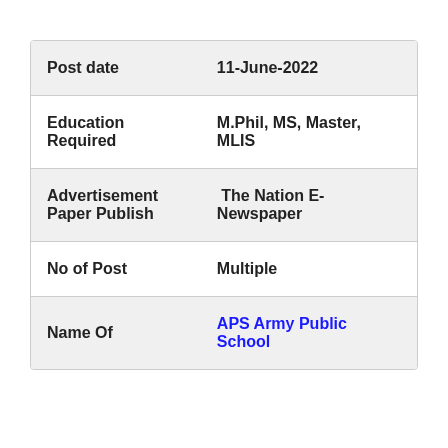| Post date | 11-June-2022 |
| Education Required | M.Phil, MS, Master, MLIS |
| Advertisement Paper Publish | The Nation E-Newspaper |
| No of Post | Multiple |
| Name Of | APS Army Public School |